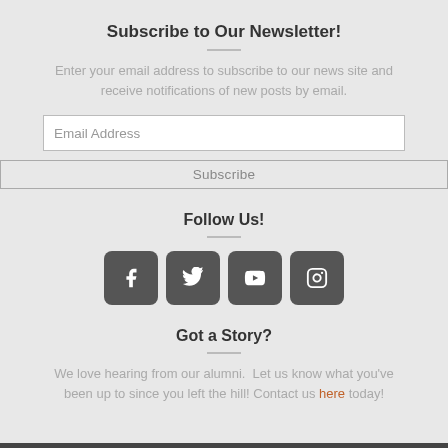Subscribe to Our Newsletter!
Enter your email address to subscribe to our news site and receive notifications of new posts by email.
Email Address
Subscribe
Follow Us!
[Figure (other): Social media icons for Facebook, Twitter, YouTube, and Instagram]
Got a Story?
We love hearing from our alumni.  Let us know what you've been up to since you left the hill! Contact us here today!